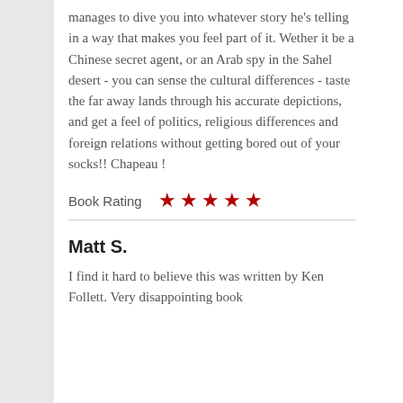manages to dive you into whatever story he's telling in a way that makes you feel part of it. Wether it be a Chinese secret agent, or an Arab spy in the Sahel desert - you can sense the cultural differences - taste the far away lands through his accurate depictions, and get a feel of politics, religious differences and foreign relations without getting bored out of your socks!! Chapeau !
Book Rating ★★★★★
Matt S.
I find it hard to believe this was written by Ken Follett. Very disappointing book